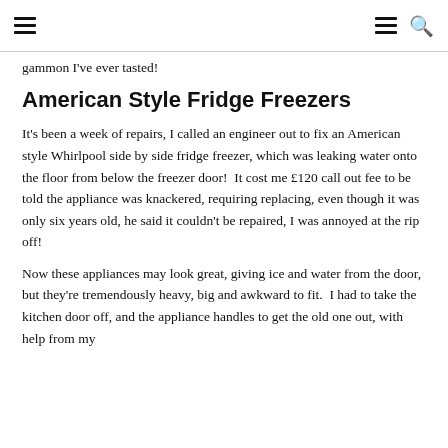☰  ☰ 🔍
gammon I've ever tasted!
American Style Fridge Freezers
It's been a week of repairs, I called an engineer out to fix an American style Whirlpool side by side fridge freezer, which was leaking water onto the floor from below the freezer door!  It cost me £120 call out fee to be told the appliance was knackered, requiring replacing, even though it was only six years old, he said it couldn't be repaired, I was annoyed at the rip off!
Now these appliances may look great, giving ice and water from the door, but they're tremendously heavy, big and awkward to fit.  I had to take the kitchen door off, and the appliance handles to get the old one out, with help from my